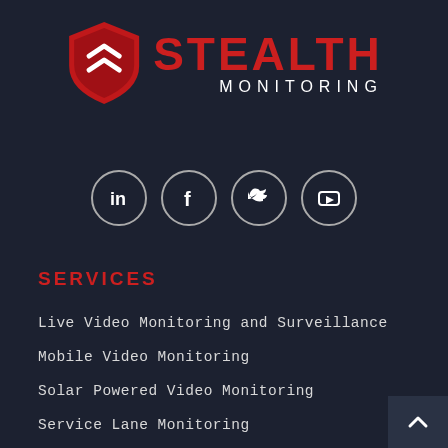[Figure (logo): Stealth Monitoring logo: red shield icon with stylized arrow on the left, red bold text STEALTH with white smaller text MONITORING on the right]
[Figure (infographic): Four social media icons in circles: LinkedIn, Facebook, Twitter, YouTube]
SERVICES
Live Video Monitoring and Surveillance
Mobile Video Monitoring
Solar Powered Video Monitoring
Service Lane Monitoring
Remote Concierge
Gate & Access Management